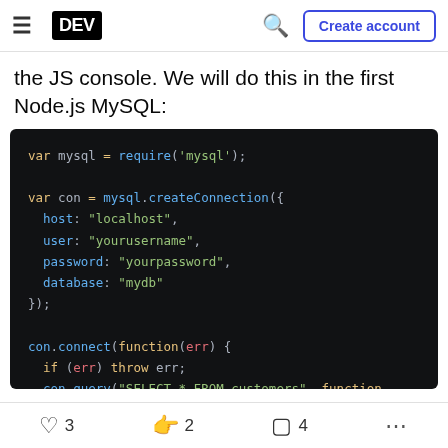DEV | Create account
the JS console. We will do this in the first Node.js MySQL:
[Figure (screenshot): Dark-themed code editor screenshot showing Node.js MySQL connection code in syntax-highlighted monospace font. Code includes: var mysql = require('mysql'); var con = mysql.createConnection({ host: "localhost", user: "yourusername", password: "yourpassword", database: "mydb" }); con.connect(function(err) { if (err) throw err; con.query("SELECT * FROM customers", function]
3   2   4   ...